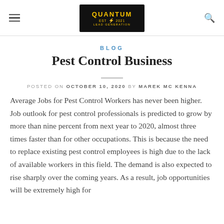Quantum Lead Generation logo, hamburger menu, search icon
BLOG
Pest Control Business
POSTED ON OCTOBER 10, 2020 BY MAREK MC KENNA
Average Jobs for Pest Control Workers has never been higher. Job outlook for pest control professionals is predicted to grow by more than nine percent from next year to 2020, almost three times faster than for other occupations. This is because the need to replace existing pest control employees is high due to the lack of available workers in this field. The demand is also expected to rise sharply over the coming years. As a result, job opportunities will be extremely high for